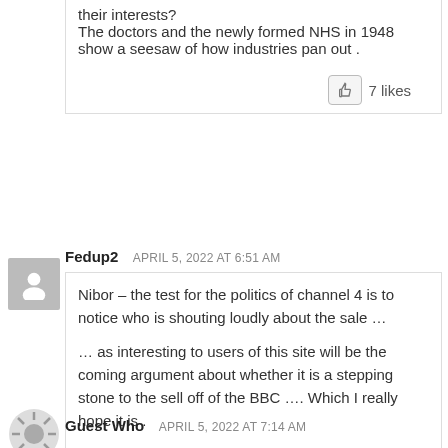their interests?
The doctors and the newly formed NHS in 1948 show a seesaw of how industries pan out .
7 likes
Fedup2  APRIL 5, 2022 AT 6:51 AM
Nibor – the test for the politics of channel 4 is to notice who is shouting loudly about the sale …

… as interesting to users of this site will be the coming argument about whether it is a stepping stone to the sell off of the BBC …. Which I really hope it is .

It can continue to vomit far left anti British poison if it wants but without sucking on the taxpayers compulsory taxes….
19 likes
Guest Who  APRIL 5, 2022 AT 7:14 AM